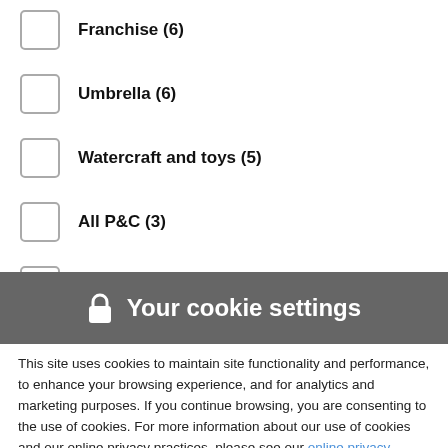Franchise (6)
Umbrella (6)
Watercraft and toys (5)
All P&C (3)
Motorcycle (3)
🔒 Your cookie settings
This site uses cookies to maintain site functionality and performance, to enhance your browsing experience, and for analytics and marketing purposes. If you continue browsing, you are consenting to the use of cookies. For more information about our use of cookies and our online privacy practices, please see our online privacy